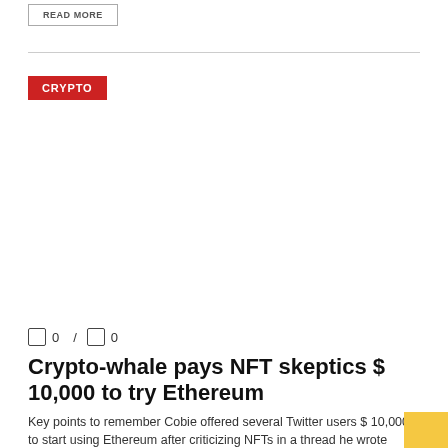READ MORE
CRYPTO
0 / 0
Crypto-whale pays NFT skeptics $ 10,000 to try Ethereum
Key points to remember Cobie offered several Twitter users $ 10,000 to start using Ethereum after criticizing NFTs in a thread he wrote about using the ...